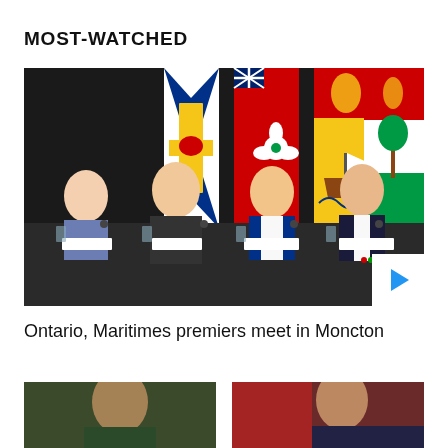MOST-WATCHED
[Figure (photo): Four premiers seated at a conference table with provincial flags (Nova Scotia, Ontario, New Brunswick, Prince Edward Island) in the background. CTV News Atlantic logo watermark visible in the lower right.]
Ontario, Maritimes premiers meet in Moncton
[Figure (photo): Partial view of a person, left bottom thumbnail]
[Figure (photo): Partial view of a person, right bottom thumbnail]